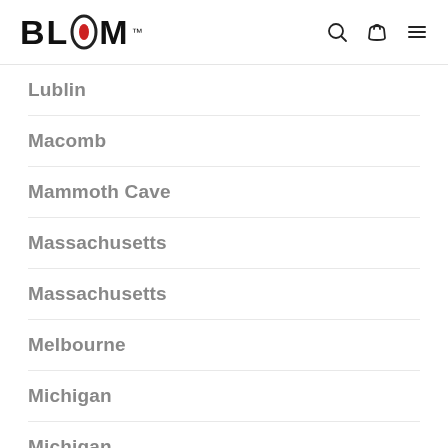BLOOM™
Lublin
Macomb
Mammoth Cave
Massachusetts
Massachusetts
Melbourne
Michigan
Michigan
Michigan
Midwest City
Moore
Mosfellsbær